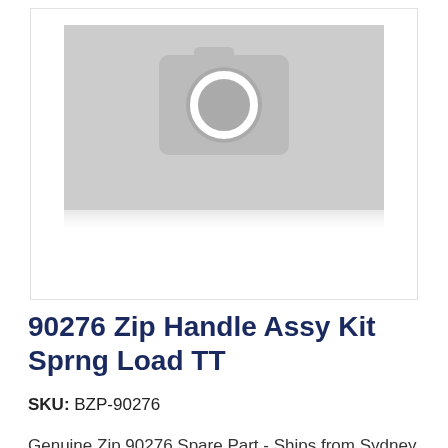[Figure (photo): Product image placeholder with camera icon (grey background with white camera outline and circle), inside a light grey bordered box]
90276 Zip Handle Assy Kit Sprng Load TT
SKU: BZP-90276
Genuine Zip 90276 Spare Part - Ships from Sydney in 5-7